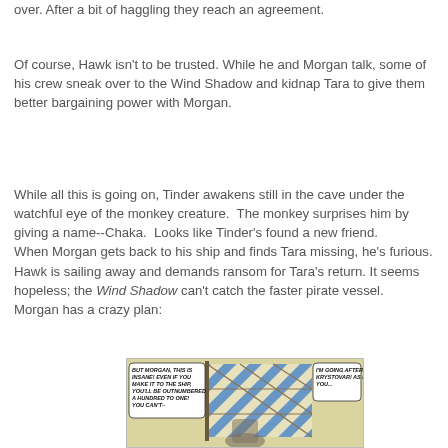over. After a bit of haggling they reach an agreement.
Of course, Hawk isn't to be trusted. While he and Morgan talk, some of his crew sneak over to the Wind Shadow and kidnap Tara to give them better bargaining power with Morgan.
While all this is going on, Tinder awakens still in the cave under the watchful eye of the monkey creature.  The monkey surprises him by giving a name--Chaka.  Looks like Tinder's found a new friend.
When Morgan gets back to his ship and finds Tara missing, he's furious. Hawk is sailing away and demands ransom for Tara's return. It seems hopeless; the Wind Shadow can't catch the faster pirate vessel.  Morgan has a crazy plan:
[Figure (illustration): Comic panel showing a blue and white sail with rope rigging. Speech bubble on left reads: 'BUT MORGAN, THIS IS INSANE! EVEN IF YOU MAKE IT TO THE SHIP, YOU'LL BE OUTNUMBERED A HUNDRED TO ONE! YOU CAN'T--' and on right: 'I'M GOING AFTER HER, KRYSTOVAR! AS FOR YOU...']